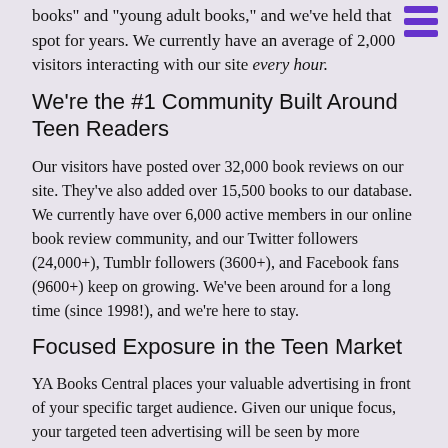books" and "young adult books," and we've held that spot for years. We currently have an average of 2,000 visitors interacting with our site every hour.
We're the #1 Community Built Around Teen Readers
Our visitors have posted over 32,000 book reviews on our site. They've also added over 15,500 books to our database. We currently have over 6,000 active members in our online book review community, and our Twitter followers (24,000+), Tumblr followers (3600+), and Facebook fans (9600+) keep on growing. We've been around for a long time (since 1998!), and we're here to stay.
Focused Exposure in the Teen Market
YA Books Central places your valuable advertising in front of your specific target audience. Given our unique focus, your targeted teen advertising will be seen by more potential customers–tweens and teens who love to read, as well as educators, parents and librarians.
YA Books Central was founded in 1998 by (now) author Kimberly Pauley. Since that time it has experienced steady growth and is widely recognized as one of the leading teen literature sites on the Internet. Content is added to the site on a daily basis, including book reviews from published authors, teachers, and librarians.